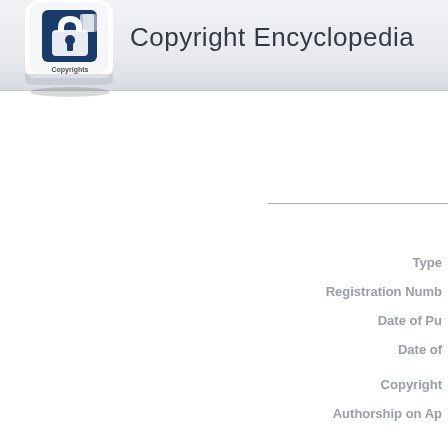[Figure (logo): Copyright Encyclopedia logo with a keyboard key showing a padlock and 'Copyrights' text]
Copyright Encyclopedia
Type
Registration Numb
Date of Pu
Date of
Copyright
Authorship on Ap